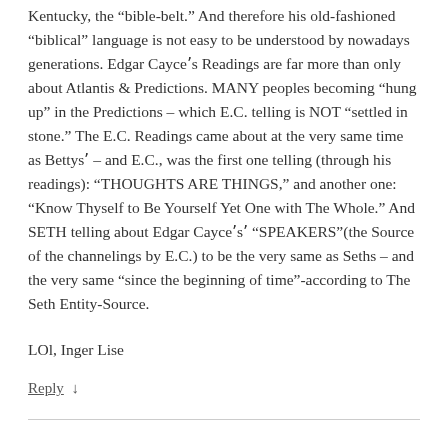Kentucky, the “bible-belt.” And therefore his old-fashioned “biblical” language is not easy to be understood by nowadays generations. Edgar Cayceʼs Readings are far more than only about Atlantis & Predictions. MANY peoples becoming “hung up” in the Predictions – which E.C. telling is NOT “settled in stone.” The E.C. Readings came about at the very same time as Bettysʼ – and E.C., was the first one telling (through his readings): “THOUGHTS ARE THINGS,” and another one: “Know Thyself to Be Yourself Yet One with The Whole.” And SETH telling about Edgar Cayceʼsʼ “SPEAKERS”(the Source of the channelings by E.C.) to be the very same as Seths – and the very same “since the beginning of time”-according to The Seth Entity-Source.
LOl, Inger Lise
Reply ↓